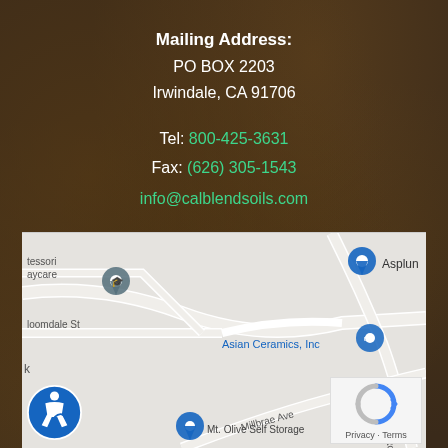Mailing Address:
PO BOX 2203
Irwindale, CA 91706
Tel: 800-425-3631
Fax: (626) 305-1543
info@calblendsoils.com
Se Habla Español
🐦 Follow us on Twitter
[Figure (map): Google Maps screenshot showing area near Irwindale CA with streets including Millbrae Ave, Las Lomas Rd, Bloomdale St, and landmarks including Mt. Olive Self Storage, Asian Ceramics Inc, Asplund. Accessibility icon in bottom left, reCAPTCHA Privacy/Terms box in bottom right.]